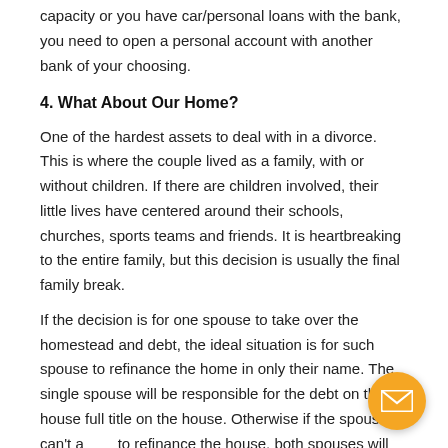capacity or you have car/personal loans with the bank, you need to open a personal account with another bank of your choosing.
4. What About Our Home?
One of the hardest assets to deal with in a divorce. This is where the couple lived as a family, with or without children. If there are children involved, their little lives have centered around their schools, churches, sports teams and friends. It is heartbreaking to the entire family, but this decision is usually the final family break.
If the decision is for one spouse to take over the homestead and debt, the ideal situation is for such spouse to refinance the home in only their name. The single spouse will be responsible for the debt on the house full title on the house. Otherwise if the spouse can't afford to refinance the house, both spouses will have to work out